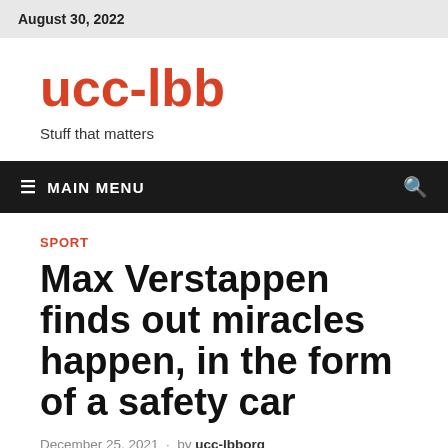August 30, 2022
ucc-lbb
Stuff that matters
≡ MAIN MENU
SPORT
Max Verstappen finds out miracles happen, in the form of a safety car
December 25, 2021 · by ucc-lbborg
[Figure (photo): Partial image at bottom of page, cropped]